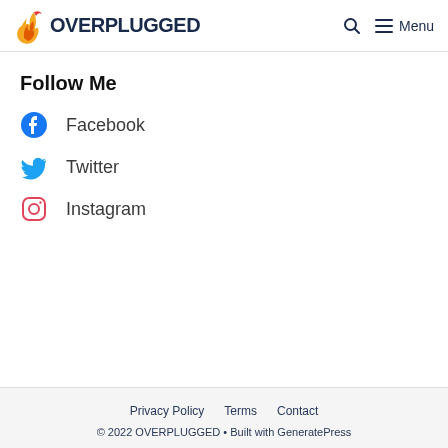OVERPLUGGED — Menu
Follow Me
Facebook
Twitter
Instagram
Privacy Policy  Terms  Contact
© 2022 OVERPLUGGED • Built with GeneratePress